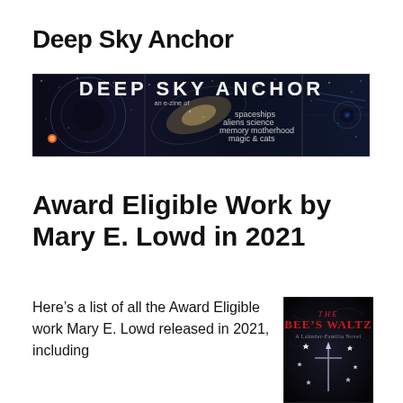Deep Sky Anchor
[Figure (illustration): Deep Sky Anchor banner image — dark space-themed banner with text 'DEEP SKY ANCHOR an e-zine of spaceships aliens science memory motherhood magic & cats']
Award Eligible Work by Mary E. Lowd in 2021
Here’s a list of all the Award Eligible work Mary E. Lowd released in 2021, including
[Figure (photo): Book cover of 'The Bee's Waltz, A Lahnder-Familia Novel' — dark cover with red title text and star/sword imagery]